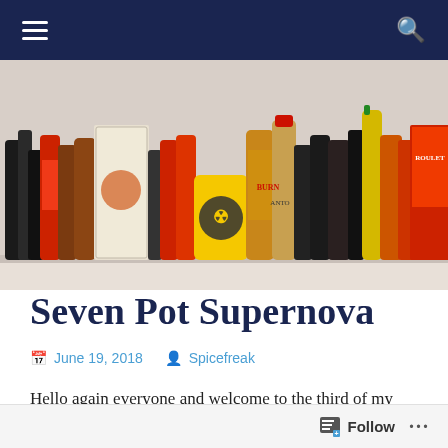Navigation bar with hamburger menu and search icon
[Figure (photo): A shelf full of various hot sauce bottles and condiment products including Burning Desire Foods and other brands with colorful labels.]
Seven Pot Supernova
June 19, 2018  Spicefreak
Hello again everyone and welcome to the third of my Burning Desire Foods reviews. Reviews of a brand I
Follow  ...